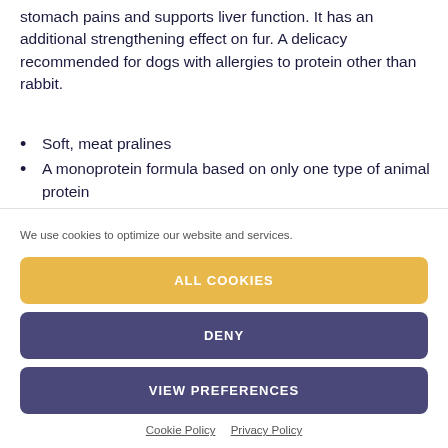stomach pains and supports liver function. It has an additional strengthening effect on fur. A delicacy recommended for dogs with allergies to protein other than rabbit.
Soft, meat pralines
A monoprotein formula based on only one type of animal protein
Recommended for dogs with allergies and...
We use cookies to optimize our website and services.
ALL COOKIES
DENY
VIEW PREFERENCES
Cookie Policy   Privacy Policy